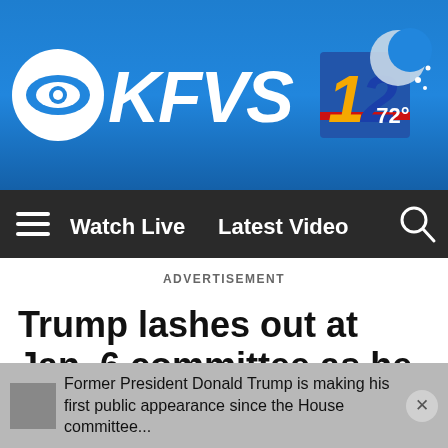[Figure (logo): KFVS12 CBS affiliate TV station logo with CBS eye, KFVS text in white italic, and yellow/blue 12 badge on blue gradient background]
[Figure (illustration): Moon/weather icon with 72 degree temperature display in top right of header]
≡  Watch Live   Latest Video   🔍
ADVERTISEMENT
Trump lashes out at Jan. 6 committee as he teases 2024 run
Former President Donald Trump is making his first public appearance since the House committee...